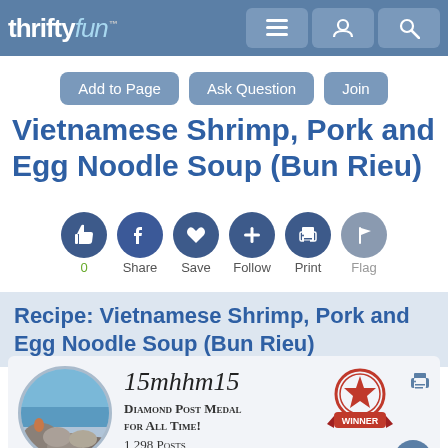thriftyfun™ [nav icons: menu, user, search]
Add to Page  Ask Question  Join
Vietnamese Shrimp, Pork and Egg Noodle Soup (Bun Rieu)
0  Share  Save  Follow  Print  Flag
Recipe: Vietnamese Shrimp, Pork and Egg Noodle Soup (Bun Rieu)
15mhhm15
Diamond Post Medal for All Time!
1,298 Posts
April 7, 2017